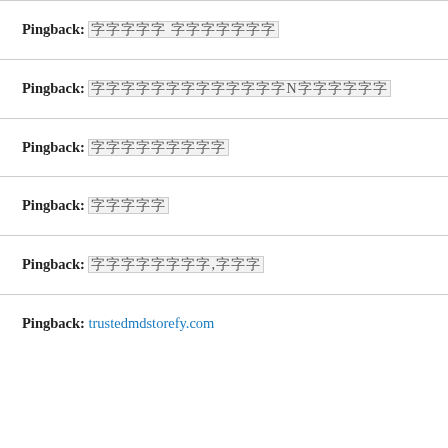Pingback:
Pingback:
Pingback:
Pingback:
Pingback:
Pingback: trustedmdstorefy.com